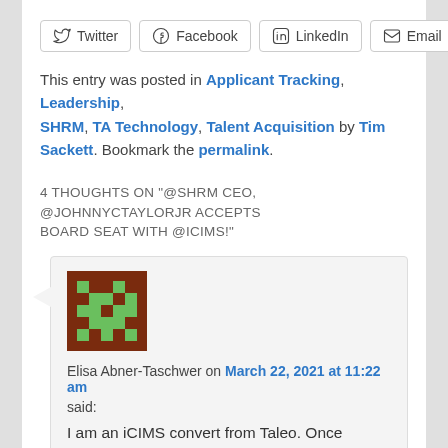[Figure (other): Social share buttons: Twitter, Facebook, LinkedIn, Email]
This entry was posted in Applicant Tracking, Leadership, SHRM, TA Technology, Talent Acquisition by Tim Sackett. Bookmark the permalink.
4 THOUGHTS ON "@SHRM CEO, @JOHNNYCTAYLORJR ACCEPTS BOARD SEAT WITH @ICIMS!"
[Figure (illustration): Avatar image with brown background and green pixel art design for commenter Elisa Abner-Taschwer]
Elisa Abner-Taschwer on March 22, 2021 at 11:22 am
said:
I am an iCIMS convert from Taleo. Once Oracle bought Taleo, we lost all support as a non-enterprise user. We decided to look in 2018 and looked at several vendors. iCIMS was the most responsive and the integration was easy as pie. I